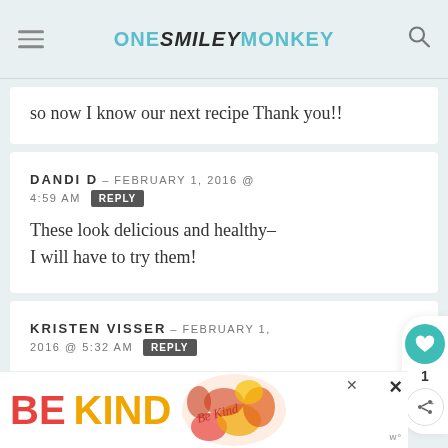ONE SMILEY MONKEY
so now I know our next recipe Thank you!!
DANDI D – FEBRUARY 1, 2016 @ 4:59 AM [REPLY]
These look delicious and healthy– I will have to try them!
KRISTEN VISSER – FEBRUARY 1, 2016 @ 5:32 AM [REPLY]
[Figure (infographic): BE KIND advertisement banner with floral illustration]